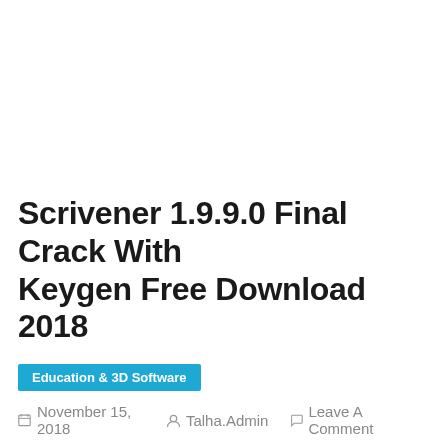Scrivener 1.9.9.0 Final Crack With Keygen Free Download 2018
Education & 3D Software
November 15, 2018   Talha.Admin   Leave A Comment
[Figure (screenshot): Row of download buttons: 'Direct Download Here' (red), 'Only Crack' (gray), 'Zippyshare' (green), and a teal upward-arrow button]
Scrivener 1.9.9.0 Final Crack With